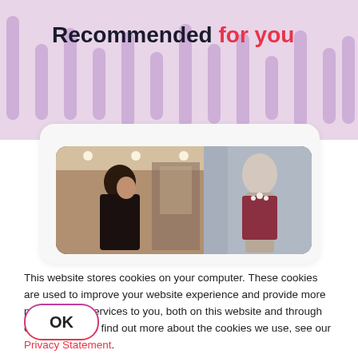Recommended for you
[Figure (photo): Two photos side by side: left shows an Asian woman in a shopping mall interior, right shows a mannequin in a store window display]
This website stores cookies on your computer. These cookies are used to improve your website experience and provide more personalized services to you, both on this website and through other media. To find out more about the cookies we use, see our Privacy Statement.
OK